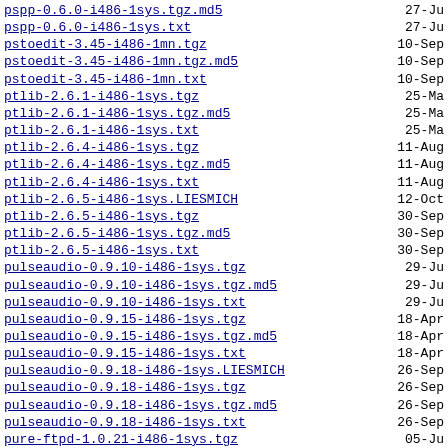pspp-0.6.0-i486-1sys.tgz.md5  27-Ju
pspp-0.6.0-i486-1sys.txt  27-Ju
pstoedit-3.45-i486-1mn.tgz  10-Sep
pstoedit-3.45-i486-1mn.tgz.md5  10-Sep
pstoedit-3.45-i486-1mn.txt  10-Sep
ptlib-2.6.1-i486-1sys.tgz  25-Ma
ptlib-2.6.1-i486-1sys.tgz.md5  25-Ma
ptlib-2.6.1-i486-1sys.txt  25-Ma
ptlib-2.6.4-i486-1sys.tgz  11-Aug
ptlib-2.6.4-i486-1sys.tgz.md5  11-Aug
ptlib-2.6.4-i486-1sys.txt  11-Aug
ptlib-2.6.5-i486-1sys.LIESMICH  12-Oct
ptlib-2.6.5-i486-1sys.tgz  30-Sep
ptlib-2.6.5-i486-1sys.tgz.md5  30-Sep
ptlib-2.6.5-i486-1sys.txt  30-Sep
pulseaudio-0.9.10-i486-1sys.tgz  29-Ju
pulseaudio-0.9.10-i486-1sys.tgz.md5  29-Ju
pulseaudio-0.9.10-i486-1sys.txt  29-Ju
pulseaudio-0.9.15-i486-1sys.tgz  18-Apr
pulseaudio-0.9.15-i486-1sys.tgz.md5  18-Apr
pulseaudio-0.9.15-i486-1sys.txt  18-Apr
pulseaudio-0.9.18-i486-1sys.LIESMICH  26-Sep
pulseaudio-0.9.18-i486-1sys.tgz  26-Sep
pulseaudio-0.9.18-i486-1sys.tgz.md5  26-Sep
pulseaudio-0.9.18-i486-1sys.txt  26-Sep
pure-ftpd-1.0.21-i486-1sys.tgz  05-Ju
pure-ftpd-1.0.21-i486-1sys.tgz.md5  05-Ju
pure-ftpd-1.0.21-i486-1sys.txt  05-Ju
pyalsa-1.0.21-i486-1sys.tgz  10-Sep
pyalsa-1.0.21-i486-1sys.tgz.md5  10-Sep